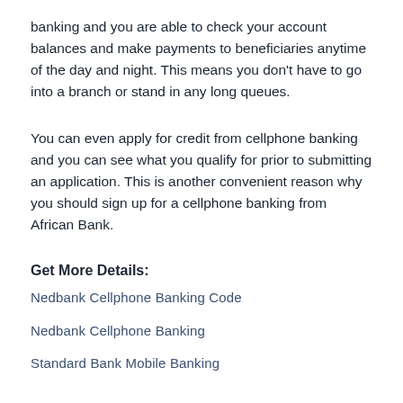banking and you are able to check your account balances and make payments to beneficiaries anytime of the day and night. This means you don't have to go into a branch or stand in any long queues.
You can even apply for credit from cellphone banking and you can see what you qualify for prior to submitting an application. This is another convenient reason why you should sign up for a cellphone banking from African Bank.
Get More Details:
Nedbank Cellphone Banking Code
Nedbank Cellphone Banking
Standard Bank Mobile Banking